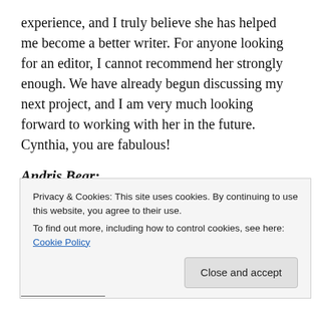experience, and I truly believe she has helped me become a better writer. For anyone looking for an editor, I cannot recommend her strongly enough. We have already begun discussing my next project, and I am very much looking forward to working with her in the future. Cynthia, you are fabulous!
Andris Bear:
Cynthia is fabulous–efficient, professional, and affordable. She met my high expectations on a tight schedule and was delightful to work with. She explains her reasons
Privacy & Cookies: This site uses cookies. By continuing to use this website, you agree to their use.
To find out more, including how to control cookies, see here: Cookie Policy